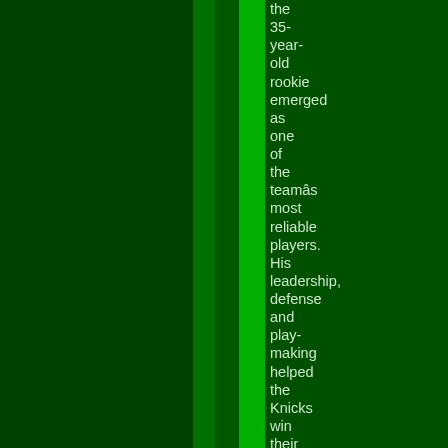the 35-year-old rookie emerged as one of the team’s most reliable players. His leadership, defense and play-making helped the Knicks win their first